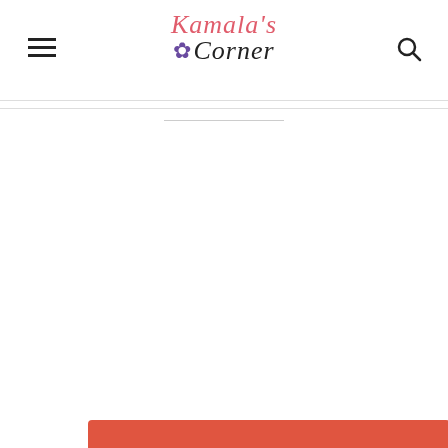Kamala's Corner
SUBSCRIBE TO OUR NEWSLETTER
Your first name
Your last name
Your email address